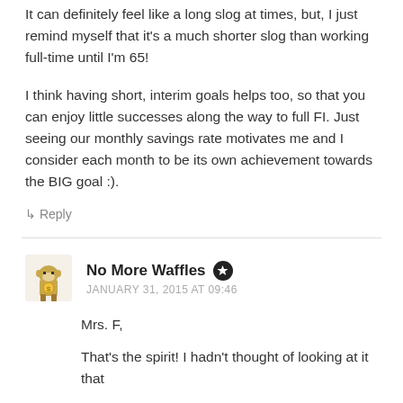It can definitely feel like a long slog at times, but, I just remind myself that it's a much shorter slog than working full-time until I'm 65!
I think having short, interim goals helps too, so that you can enjoy little successes along the way to full FI. Just seeing our monthly savings rate motivates me and I consider each month to be its own achievement towards the BIG goal :).
↳ Reply
No More Waffles
JANUARY 31, 2015 AT 09:46
Mrs. F,
That's the spirit! I hadn't thought of looking at it that